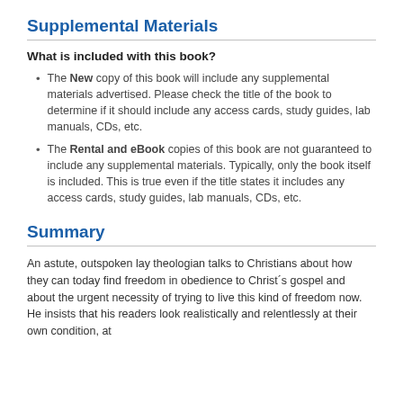Supplemental Materials
What is included with this book?
The New copy of this book will include any supplemental materials advertised. Please check the title of the book to determine if it should include any access cards, study guides, lab manuals, CDs, etc.
The Rental and eBook copies of this book are not guaranteed to include any supplemental materials. Typically, only the book itself is included. This is true even if the title states it includes any access cards, study guides, lab manuals, CDs, etc.
Summary
An astute, outspoken lay theologian talks to Christians about how they can today find freedom in obedience to Christ´s gospel and about the urgent necessity of trying to live this kind of freedom now. He insists that his readers look realistically and relentlessly at their own condition, at